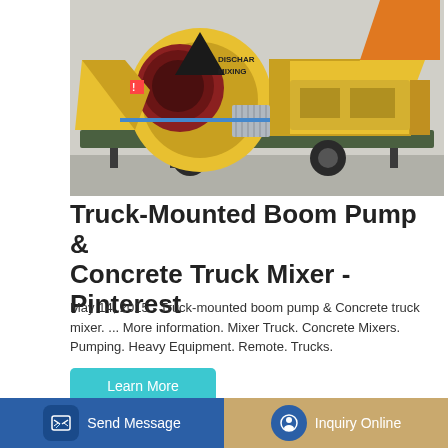[Figure (photo): Yellow truck-mounted concrete boom pump and mixer machine on a flatbed trailer, outdoors. Text on machine reads 'DISCHAR MIXING'.]
Truck-Mounted Boom Pump & Concrete Truck Mixer - Pinterest
May 14, 2015 - Truck-mounted boom pump & Concrete truck mixer. ... More information. Mixer Truck. Concrete Mixers. Pumping. Heavy Equipment. Remote. Trucks.
Learn More
[Figure (photo): Partial view of another construction machine at the bottom of the page.]
Send Message
Inquiry Online